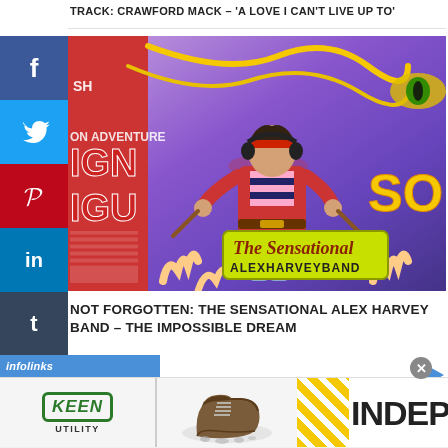TRACK: CRAWFORD MACK – 'A LOVE I CAN'T LIVE UP TO'
[Figure (photo): Colourful comic-book style illustration featuring a rock musician character in a red jacket with striped shirt, with 'The Sensational Alex Harvey Band' logo overlaid. Background shows partial text including 'ON ADVENTURE', 'IGN', 'IGU', 'SO' in large letters.]
NOT FORGOTTEN: THE SENSATIONAL ALEX HARVEY BAND – THE IMPOSSIBLE DREAM
[Figure (infographic): Advertisement banner featuring Keen Utility brand with boot photo and 'Independence' text with diagonal stripe pattern.]